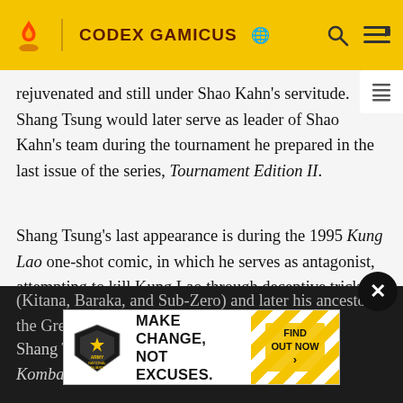CODEX GAMICUS
rejuvenated and still under Shao Kahn's servitude. Shang Tsung would later serve as leader of Shao Kahn's team during the tournament he prepared in the last issue of the series, Tournament Edition II.
Shang Tsung's last appearance is during the 1995 Kung Lao one-shot comic, in which he serves as antagonist, attempting to kill Kung Lao through deceptive tricks using his shapeshifting abilities to use Kung Lao's friends (Kitana, Baraka, and Sub-Zero) and later his ancestor, the Great K
[Figure (infographic): Army National Guard advertisement: MAKE CHANGE, NOT EXCUSES. FIND OUT NOW]
Shang Tsung appears in the short film "Mortal Kombat: Rebirth".